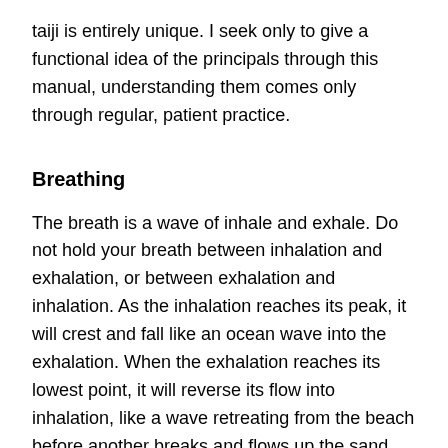taiji is entirely unique. I seek only to give a functional idea of the principals through this manual, understanding them comes only through regular, patient practice.
Breathing
The breath is a wave of inhale and exhale. Do not hold your breath between inhalation and exhalation, or between exhalation and inhalation. As the inhalation reaches its peak, it will crest and fall like an ocean wave into the exhalation. When the exhalation reaches its lowest point, it will reverse its flow into inhalation, like a wave retreating from the beach before another breaks and flows up the sand. The yin yang symbol (taijitu – grand ultimate map) looks like two waves stuck together, think of it as a model